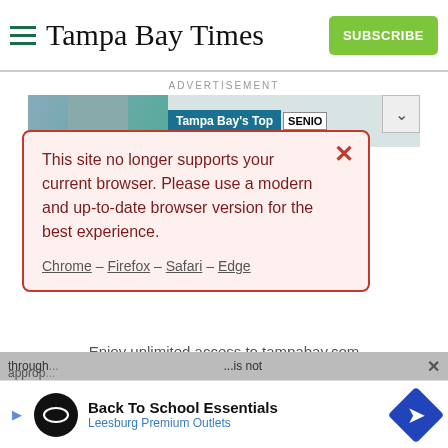Tampa Bay Times
ADVERTISEMENT
[Figure (screenshot): Partial ad banner showing Tampa Bay's Top with SENIO text and dropdown button]
This site no longer supports your current browser. Please use a modern and up-to-date browser version for the best experience.
Chrome – Firefox – Safari – Edge
Enjoy unlimited access to tampabay.com for only $11.75 $0.99 for the first month.
Subscribe
Log In
Interested in print delivery? Subscribe here →
through... ...is not approp...
Back To School Essentials
Leesburg Premium Outlets